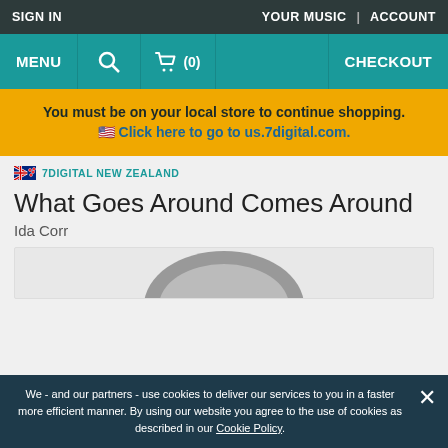SIGN IN   YOUR MUSIC | ACCOUNT
MENU  [search icon]  [cart] (0)  CHECKOUT
You must be on your local store to continue shopping.
🇺🇸 Click here to go to us.7digital.com.
🇳🇿 7DIGITAL NEW ZEALAND
What Goes Around Comes Around
Ida Corr
[Figure (photo): Partial view of album art showing top of a person's head with grey/white hair against a light background]
We - and our partners - use cookies to deliver our services to you in a faster more efficient manner. By using our website you agree to the use of cookies as described in our Cookie Policy.